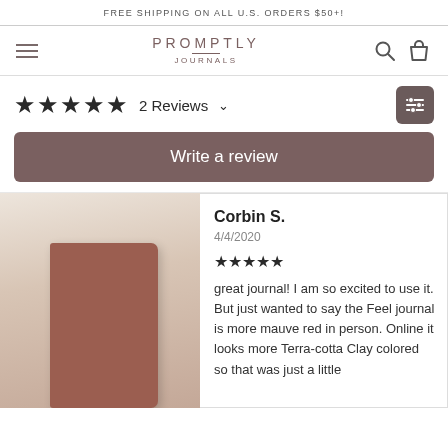FREE SHIPPING ON ALL U.S. ORDERS $50+!
[Figure (logo): Promptly Journals logo with hamburger menu, search and cart icons]
★★★★★ 2 Reviews ∨
Write a review
[Figure (photo): Photo of a mauve-red leather journal held in hand against a light background]
Corbin S.
4/4/2020
★★★★★
great journal! I am so excited to use it. But just wanted to say the Feel journal is more mauve red in person. Online it looks more Terra-cotta Clay colored so that was just a little